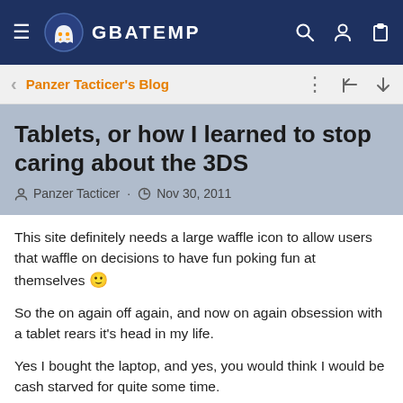GBATEMP
Panzer Tacticer's Blog
Tablets, or how I learned to stop caring about the 3DS
Panzer Tacticer · Nov 30, 2011
This site definitely needs a large waffle icon to allow users that waffle on decisions to have fun poking fun at themselves 🙂
So the on again off again, and now on again obsession with a tablet rears it's head in my life.
Yes I bought the laptop, and yes, you would think I would be cash starved for quite some time.
But, I watched this anime a couple of months back (Itazura na Kiss) and it showed me a valuable thinking process. You can't go through life obssed with always doing the logical, the intelligent, the well